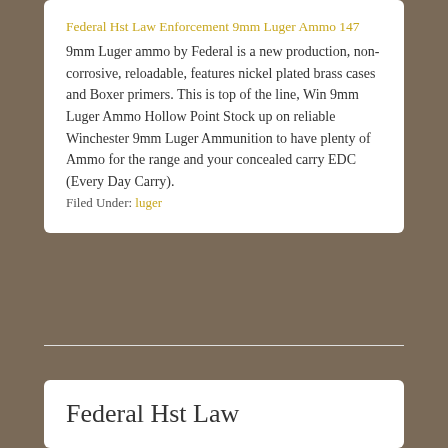Federal Hst Law Enforcement 9mm Luger Ammo 147
9mm Luger ammo by Federal is a new production, non-corrosive, reloadable, features nickel plated brass cases and Boxer primers. This is top of the line, Win 9mm Luger Ammo Hollow Point Stock up on reliable Winchester 9mm Luger Ammunition to have plenty of Ammo for the range and your concealed carry EDC (Every Day Carry).
Filed Under: luger
Federal Hst Law